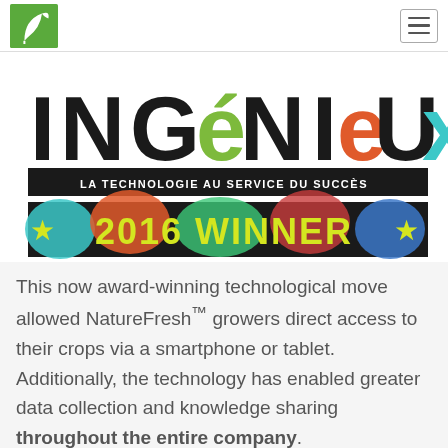NatureFresh logo and navigation menu
[Figure (logo): Ingenieux magazine banner: large stylized text 'INGéNIeUx' with colored letters on white background, subtitle 'LA TECHNOLOGIE AU SERVICE DU SUCCÈS' on black banner, and '★ 2016 WINNER ★' on colorful star/confetti background]
This now award-winning technological move allowed NatureFresh™ growers direct access to their crops via a smartphone or tablet. Additionally, the technology has enabled greater data collection and knowledge sharing throughout the entire company.